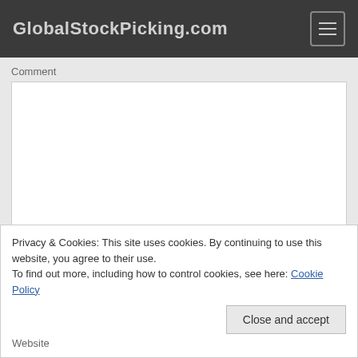GlobalStockPicking.com
Comment
Name *
Privacy & Cookies: This site uses cookies. By continuing to use this website, you agree to their use.
To find out more, including how to control cookies, see here: Cookie Policy
Close and accept
Website